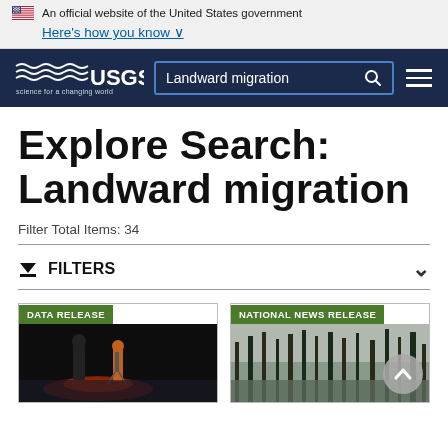An official website of the United States government
Here's how you know
[Figure (screenshot): USGS navigation bar with logo, search box showing 'Landward migration', and hamburger menu on dark blue background]
Explore Search: Landward migration
Filter Total Items: 34
FILTERS
[Figure (photo): Card labeled DATA RELEASE showing two people using scientific equipment in a flooded area at night with red glow]
[Figure (photo): Card labeled NATIONAL NEWS RELEASE showing a forested wetland area with bare trees]